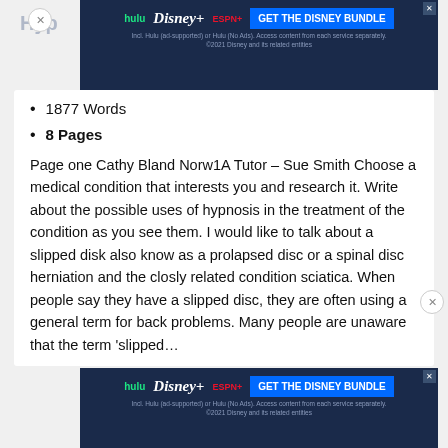[Figure (screenshot): Disney Bundle advertisement banner (Hulu, Disney+, ESPN+) with blue background and GET THE DISNEY BUNDLE call to action]
1877 Words
8 Pages
Page one Cathy Bland Norw1A Tutor – Sue Smith Choose a medical condition that interests you and research it. Write about the possible uses of hypnosis in the treatment of the condition as you see them. I would like to talk about a slipped disk also know as a prolapsed disc or a spinal disc herniation and the closly related condition sciatica. When people say they have a slipped disc, they are often using a general term for back problems. Many people are unaware that the term ‘slipped…
[Figure (screenshot): Disney Bundle advertisement banner (Hulu, Disney+, ESPN+) with blue background and GET THE DISNEY BUNDLE call to action — bottom repeat]